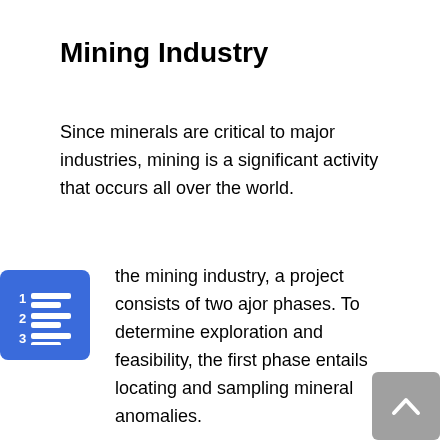Mining Industry
Since minerals are critical to major industries, mining is a significant activity that occurs all over the world.
the mining industry, a project consists of two ajor phases. To determine exploration and feasibility, the first phase entails locating and sampling mineral anomalies.
The construction and planning phase follows. At this stage, permits have been obtained and mine plans have been revised. The sector's key assets